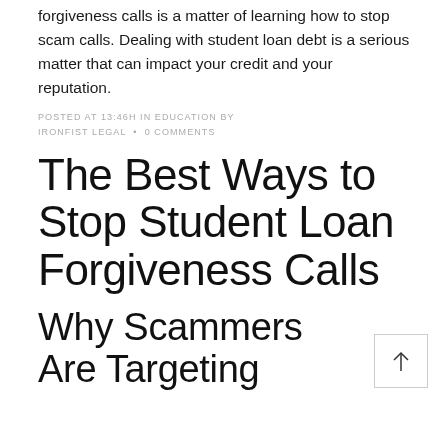forgiveness calls is a matter of learning how to stop scam calls. Dealing with student loan debt is a serious matter that can impact your credit and your reputation.
POSTED AT 13:46H IN EDUCATION BY IRONFIST LEGAL • 0 COMMENTS
The Best Ways to Stop Student Loan Forgiveness Calls
Why Scammers Are Targeting